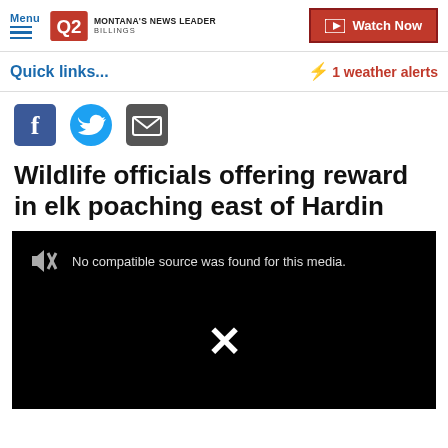Menu | Q2 Montana's News Leader Billings | Watch Now
Quick links...
⚡ 1 weather alerts
[Figure (other): Social share icons: Facebook, Twitter, Email]
Wildlife officials offering reward in elk poaching east of Hardin
[Figure (screenshot): Video player showing error: No compatible source was found for this media. Large X mark in center.]